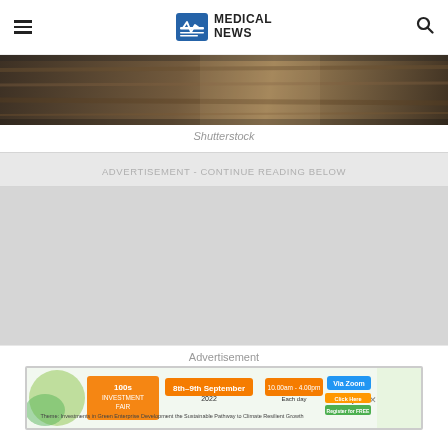MEDICAL NEWS
[Figure (photo): Dark textured wood surface - hero banner image]
Shutterstock
ADVERTISEMENT - CONTINUE READING BELOW
[Figure (other): Advertisement gray placeholder block]
Advertisement
[Figure (screenshot): Advertisement banner for 100s Investment Fair event, 8th-9th September 2022, via Zoom, 10:00am-4:00pm Each day. Theme: Investments in Green Enterprise Development the Sustainable Pathway to Climate Resilient Growth]